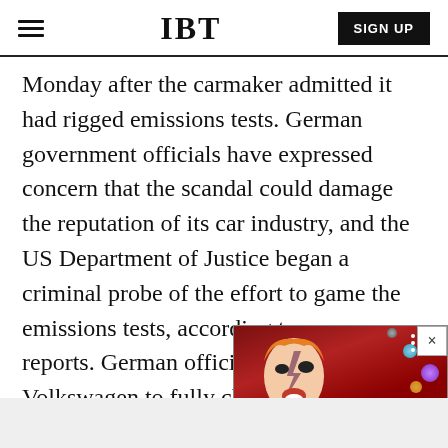IBT | SIGN UP
Monday after the carmaker admitted it had rigged emissions tests. German government officials have expressed concern that the scandal could damage the reputation of its car industry, and the US Department of Justice began a criminal probe of the effort to game the emissions tests, according to press reports. German officials urged Volkswagen to fully clear up the matter and investigate whether emissions were falsified in Europe.
[Figure (screenshot): IBT video overlay thumbnail showing a face with colorful makeup and planets/circles in background, with label 'NewSpiderGenus,Se...' and close button]